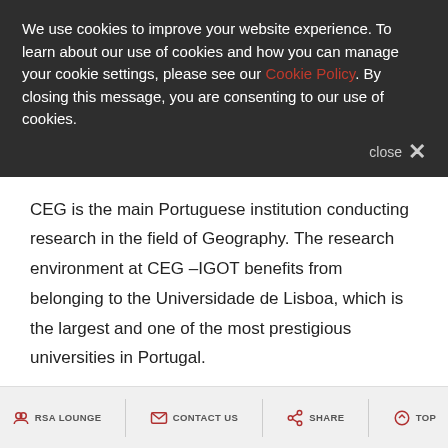We use cookies to improve your website experience. To learn about our use of cookies and how you can manage your cookie settings, please see our Cookie Policy. By closing this message, you are consenting to our use of cookies.
CEG is the main Portuguese institution conducting research in the field of Geography. The research environment at CEG –IGOT benefits from belonging to the Universidade de Lisboa, which is the largest and one of the most prestigious universities in Portugal.
RSA LOUNGE   CONTACT US   SHARE   TOP